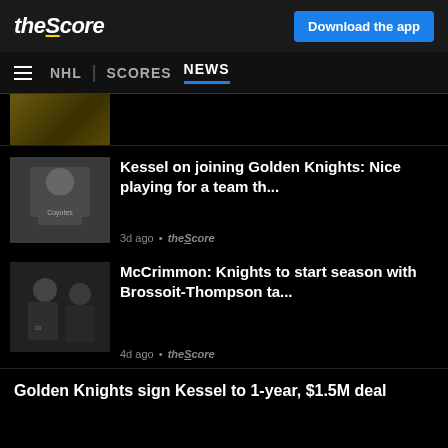theScore | Download the app
NHL | SCORES NEWS
[Figure (photo): Partial hockey image at top]
[Figure (photo): Phil Kessel in Arizona Coyotes jersey]
Kessel on joining Golden Knights: Nice playing for a team th...
3d ago • theScore
[Figure (photo): McCrimmon with Vegas Golden Knights players]
McCrimmon: Knights to start season with Brossoit-Thompson ta...
4d ago • theScore
Golden Knights sign Kessel to 1-year, $1.5M deal